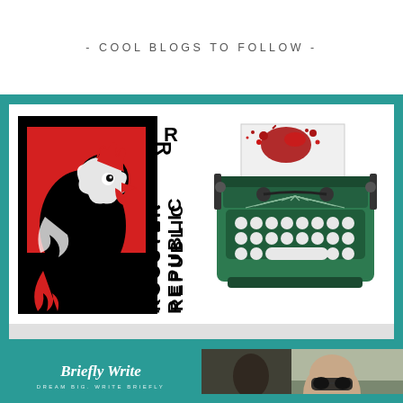- COOL BLOGS TO FOLLOW -
[Figure (logo): Rooster Republic logo — black and red graphic of a rooster with bold vertical text reading ROOSTER REPUBLIC]
[Figure (illustration): Green typewriter illustration with a sheet of paper showing a red ink splatter/bloodstain]
[Figure (logo): Briefly Write blog logo — teal background with cursive 'Briefly Write' and tagline 'DREAM BIG. WRITE BRIEFLY']
[Figure (photo): Photo of a bald man wearing sunglasses seated in a vehicle, taken from passenger seat view]